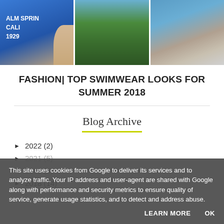[Figure (photo): Three side-by-side photos: woman in blue Palm Springs swimsuit, palm trees, person on a boat]
FASHION| TOP SWIMWEAR LOOKS FOR SUMMER 2018
Blog Archive
► 2022 (2)
► 2021 (5)
► 2019 (5)
► 2018 (14)
This site uses cookies from Google to deliver its services and to analyze traffic. Your IP address and user-agent are shared with Google along with performance and security metrics to ensure quality of service, generate usage statistics, and to detect and address abuse.
LEARN MORE   OK